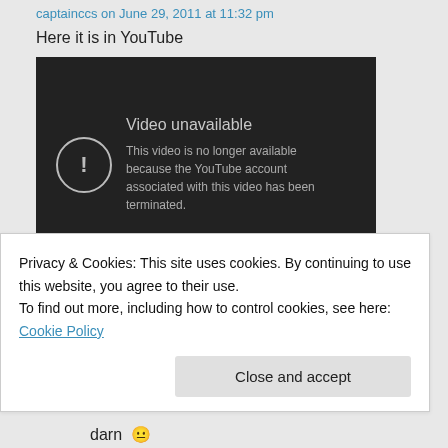captainccs on June 29, 2011 at 11:32 pm
Here it is in YouTube
[Figure (screenshot): YouTube embedded video player showing 'Video unavailable' error message. Text reads: 'Video unavailable. This video is no longer available because the YouTube account associated with this video has been terminated.' A warning icon (circle with exclamation mark) and a YouTube play button are visible.]
↳ Reply
Privacy & Cookies: This site uses cookies. By continuing to use this website, you agree to their use.
To find out more, including how to control cookies, see here: Cookie Policy
Close and accept
darn 😐